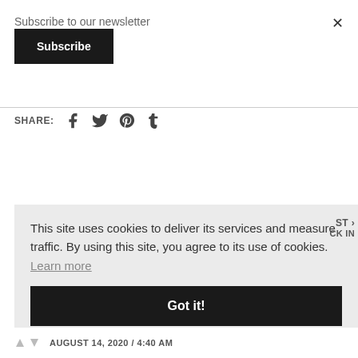Subscribe to our newsletter
Subscribe
×
SHARE:
[Figure (infographic): Social media share icons: Facebook, Twitter, Pinterest, Tumblr]
This site uses cookies to deliver its services and measure traffic. By using this site, you agree to its use of cookies.  Learn more
Got it!
ST ›
CK IN
AUGUST 14, 2020 / 4:40 AM